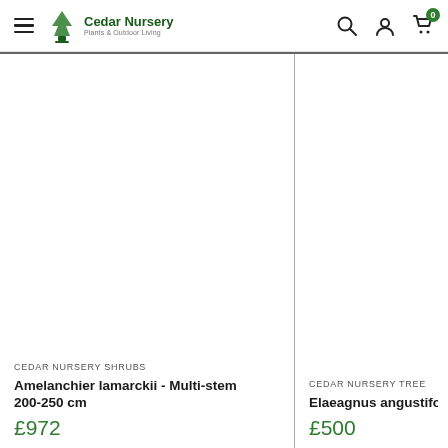Cedar Nursery - Plants & Outdoor Living
[Figure (photo): Product image area for Amelanchier lamarckii - Multi-stem 200-250 cm (white/empty product photo area)]
CEDAR NURSERY SHRUBS
Amelanchier lamarckii - Multi-stem 200-250 cm
£972
[Figure (photo): Product image area for Elaeagnus angustifolia (partially visible, white/empty product photo area)]
CEDAR NURSERY TREE
Elaeagnus angustifo
£500